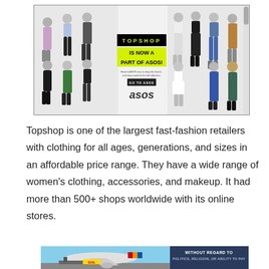[Figure (illustration): Topshop ASOS advertisement banner showing multiple fashion models with text 'TOPSHOP IS NOW A PART OF ASOS!' on a yellow/black background, with ASOS logo and a 'GO TO ASOS' button.]
Topshop is one of the largest fast-fashion retailers with clothing for all ages, generations, and sizes in an affordable price range. They have a wide range of women's clothing, accessories, and makeup. It had more than 500+ shops worldwide with its online stores.
[Figure (photo): Bottom advertisement showing a cargo airplane with DHL and Southwest branding, and text 'WITHOUT REGARD TO POLITICS, RELIGION, OR ABILITY TO PAY']